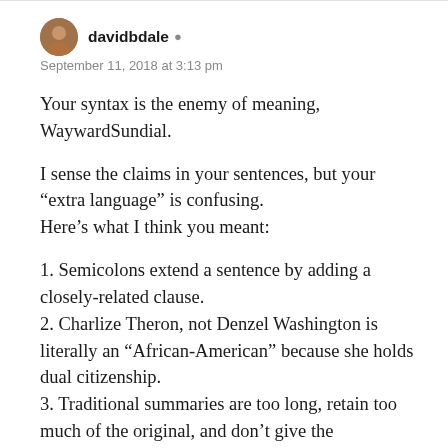davidbdale — September 11, 2018 at 3:13 pm
Your syntax is the enemy of meaning, WaywardSundial.
I sense the claims in your sentences, but your “extra language” is confusing.
Here’s what I think you meant:
1. Semicolons extend a sentence by adding a closely-related clause.
2. Charlize Theron, not Denzel Washington is literally an “African-American” because she holds dual citizenship.
3. Traditional summaries are too long, retain too much of the original, and don’t give the summarizer a chance to express an opinion.